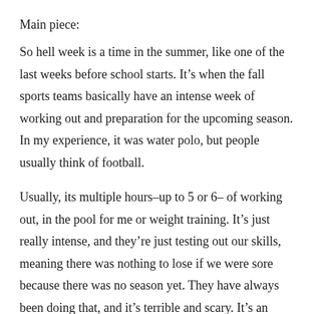Main piece:
So hell week is a time in the summer, like one of the last weeks before school starts. It's when the fall sports teams basically have an intense week of working out and preparation for the upcoming season. In my experience, it was water polo, but people usually think of football.
Usually, its multiple hours–up to 5 or 6– of working out, in the pool for me or weight training. It's just really intense, and they're just testing out our skills, meaning there was nothing to lose if we were sore because there was no season yet. They have always been doing that, and it's terrible and scary. It's an entire week of five hours every day, I hate it.
Background/context: